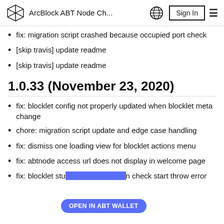ArcBlock ABT Node Ch...
fix: migration script crashed because occupied port check
[skip travis] update readme
[skip travis] update readme
1.0.33 (November 23, 2020)
fix: blocklet config not properly updated when blocklet meta change
chore: migration script update and edge case handling
fix: dismiss one loading view for blocklet actions menu
fix: abtnode access url does not display in welcome page
fix: blocklet stuck on starting when check start throw error